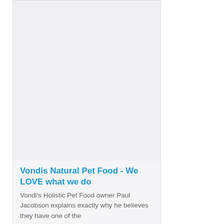[Figure (photo): Top card image placeholder - light gray rectangle]
Vondis Natural Pet Food - We LOVE what we do
Vondi's Holistic Pet Food owner Paul Jacobson explains exactly why he believes they have one of the
[Figure (photo): Bottom card image placeholder - light gray rectangle]
Take your pet to ‘cloud canine’ this